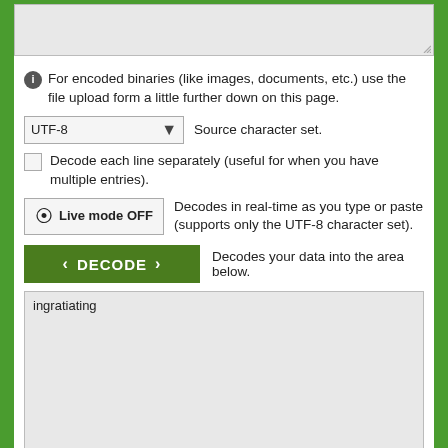[Figure (screenshot): Textarea input box (empty, grayed background) at top of page]
For encoded binaries (like images, documents, etc.) use the file upload form a little further down on this page.
UTF-8   Source character set.
Decode each line separately (useful for when you have multiple entries).
Live mode OFF   Decodes in real-time as you type or paste (supports only the UTF-8 character set).
DECODE   Decodes your data into the area below.
ingratiating
Decode files from Base64 format